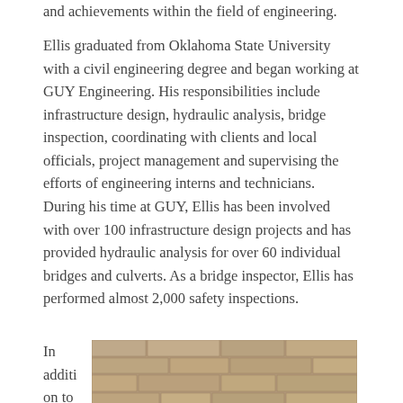and achievements within the field of engineering.
Ellis graduated from Oklahoma State University with a civil engineering degree and began working at GUY Engineering. His responsibilities include infrastructure design, hydraulic analysis, bridge inspection, coordinating with clients and local officials, project management and supervising the efforts of engineering interns and technicians. During his time at GUY, Ellis has been involved with over 100 infrastructure design projects and has provided hydraulic analysis for over 60 individual bridges and culverts. As a bridge inspector, Ellis has performed almost 2,000 safety inspections.
In addition to his
[Figure (photo): Group of people standing in front of a stone wall, wearing casual clothes and hats. Outdoors, appears to be a site visit or field inspection.]